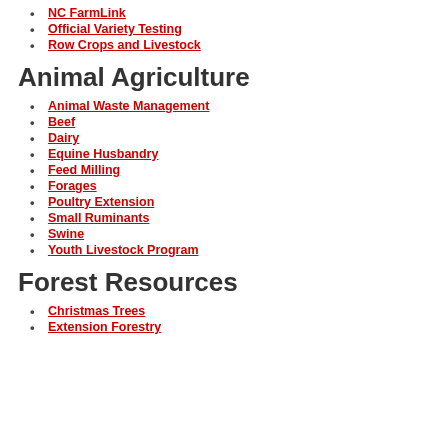NC FarmLink
Official Variety Testing
Row Crops and Livestock
Animal Agriculture
Animal Waste Management
Beef
Dairy
Equine Husbandry
Feed Milling
Forages
Poultry Extension
Small Ruminants
Swine
Youth Livestock Program
Forest Resources
Christmas Trees
Extension Forestry